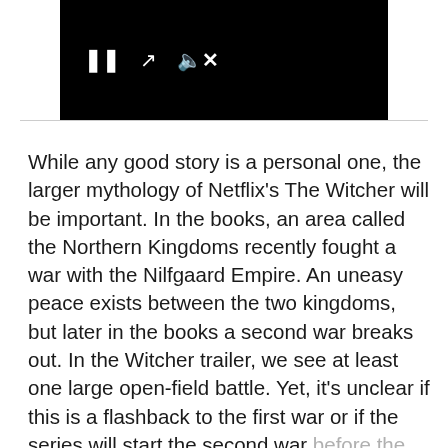[Figure (screenshot): Video player with black background showing playback controls: pause button (two vertical bars), expand/fullscreen icon (diagonal arrows), and muted speaker icon]
While any good story is a personal one, the larger mythology of Netflix's The Witcher will be important. In the books, an area called the Northern Kingdoms recently fought a war with the Nilfgaard Empire. An uneasy peace exists between the two kingdoms, but later in the books a second war breaks out. In the Witcher trailer, we see at least one large open-field battle. Yet, it's unclear if this is a flashback to the first war or if the series will start the second war before the first season ends. The plot of the series will surely stick closely to that of the